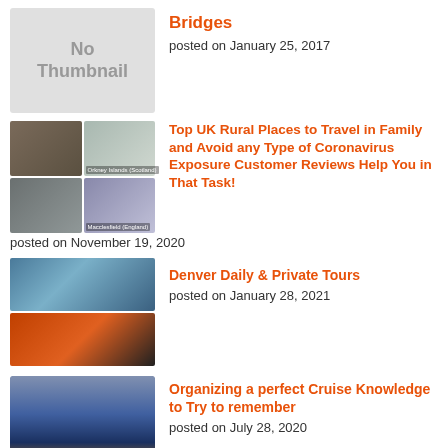[Figure (photo): No Thumbnail placeholder box (grey rectangle)]
Bridges
posted on January 25, 2017
[Figure (photo): 4-panel collage of UK rural places including Orkney Islands Scotland and Macclesfield England]
Top UK Rural Places to Travel in Family and Avoid any Type of Coronavirus Exposure Customer Reviews Help You in That Task!
posted on November 19, 2020
[Figure (photo): 2-panel collage of Denver scenery including mountains and colorful glass sculptures]
Denver Daily & Private Tours
posted on January 28, 2021
[Figure (photo): Cruise ship at sunset on the ocean]
Organizing a perfect Cruise Knowledge to Try to remember
posted on July 28, 2020